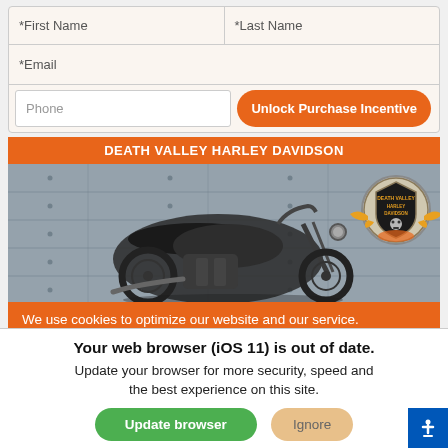| *First Name | *Last Name |
| *Email |  |
| Phone | Unlock Purchase Incentive |
DEATH VALLEY HARLEY DAVIDSON
[Figure (photo): Harley-Davidson motorcycle parked against a concrete/metal ribbed wall background, with a Death Valley Harley Davidson badge logo in the top right corner]
We use cookies to optimize our website and our service.
Cookie Policy · Privacy Statement
Your web browser (iOS 11) is out of date. Update your browser for more security, speed and the best experience on this site.
Update browser
Ignore